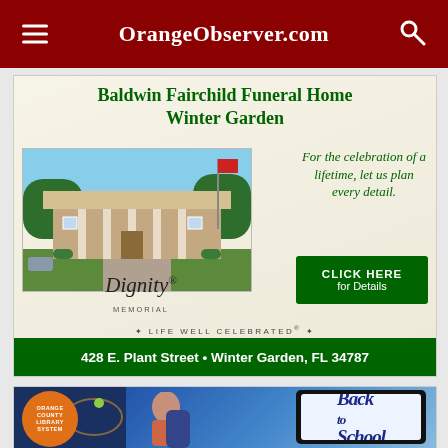OrangeObserver.com
[Figure (illustration): Baldwin Fairchild Funeral Home Winter Garden advertisement. Green text headline, photo of funeral home building, italic green tagline 'For the celebration of a lifetime, let us plan every detail.', Dignity Memorial logo with 'Life Well Celebrated', green 'CLICK HERE for Details' button, green address bar '428 E. Plant Street • Winter Garden, FL 34787']
[Figure (illustration): Orange County Library System advertisement with 'Back to School' theme. Features library system logo, photo of girl with tablet showing Back to School graphics.]